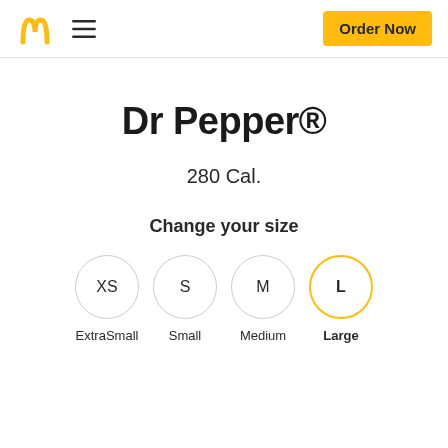McDonald's logo, hamburger menu, Order Now button
Dr Pepper®
280 Cal.
Change your size
XS – ExtraSmall
S – Small
M – Medium
L – Large (selected)